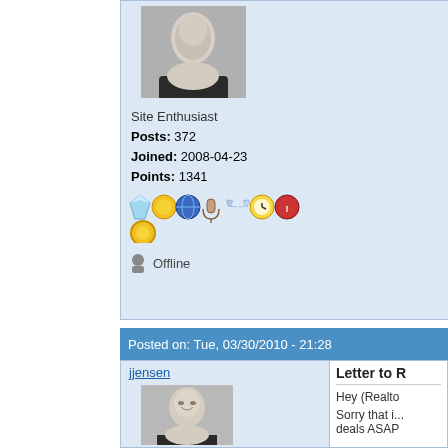[Figure (photo): Profile photo of a person in black and white, top portion of face/shoulders visible]
Site Enthusiast
Posts: 372
Joined: 2008-04-23
Points: 1341
[Figure (illustration): Row of user achievement badges/icons]
Offline
Posted on: Tue, 03/30/2010 - 21:28
jjensen
[Figure (photo): Profile photo of jjensen, smiling person in black and white]
Letter to R
Hey (Realto
Sorry that i... deals ASAP